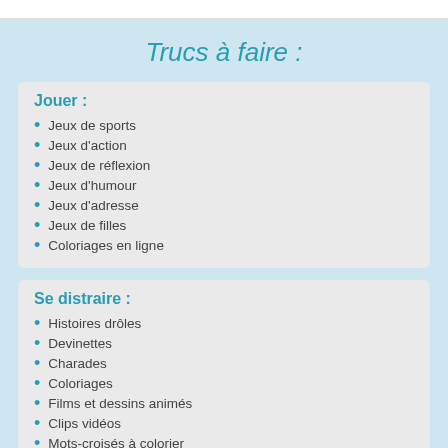Trucs à faire :
Jouer :
Jeux de sports
Jeux d'action
Jeux de réflexion
Jeux d'humour
Jeux d'adresse
Jeux de filles
Coloriages en ligne
Se distraire :
Histoires drôles
Devinettes
Charades
Coloriages
Films et dessins animés
Clips vidéos
Mots-croisés à colorier